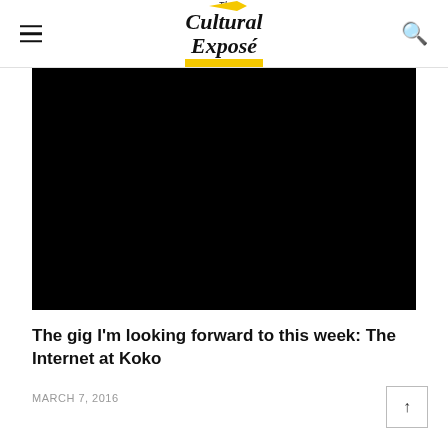The Cultural Exposé
[Figure (photo): Black image/video thumbnail placeholder]
The gig I'm looking forward to this week: The Internet at Koko
MARCH 7, 2016